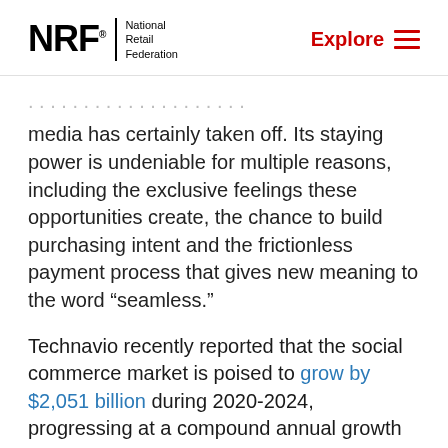NRF National Retail Federation | Explore
media has certainly taken off. Its staying power is undeniable for multiple reasons, including the exclusive feelings these opportunities create, the chance to build purchasing intent and the frictionless payment process that gives new meaning to the word “seamless.”
Technavio recently reported that the social commerce market is poised to grow by $2,051 billion during 2020-2024, progressing at a compound annual growth rate of almost 31 percent.